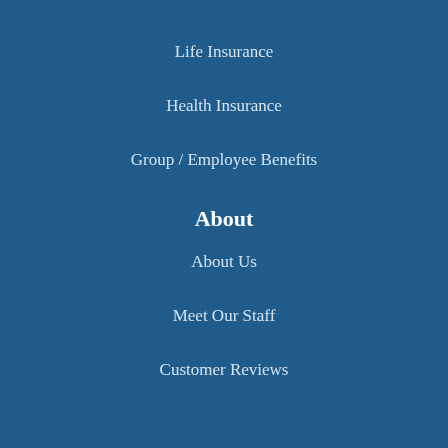Life Insurance
Health Insurance
Group / Employee Benefits
About
About Us
Meet Our Staff
Customer Reviews